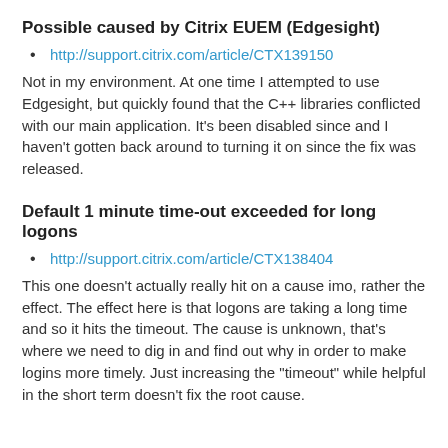Possible caused by Citrix EUEM (Edgesight)
http://support.citrix.com/article/CTX139150
Not in my environment.  At one time I attempted to use Edgesight, but quickly found that the C++ libraries conflicted with our main application.  It's been disabled since and I haven't gotten back around to turning it on since the fix was released.
Default 1 minute time-out exceeded for long logons
http://support.citrix.com/article/CTX138404
This one doesn't actually really hit on a cause imo, rather the effect.  The effect here is that logons are taking a long time and so it hits the timeout.  The cause is unknown, that's where we need to dig in and find out why in order to make logins more timely.  Just increasing the "timeout" while helpful in the short term doesn't fix the root cause.